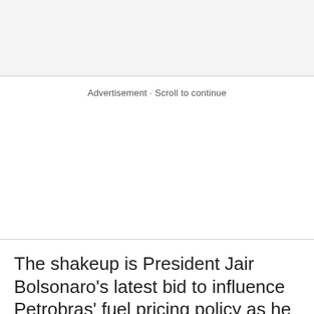Advertisement · Scroll to continue
The shakeup is President Jair Bolsonaro's latest bid to influence Petrobras' fuel pricing policy as he seeks to